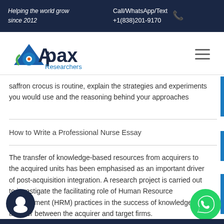Helping the world grow since 2012 | Call/WhatsApp/Text +1(838)201-9170
[Figure (logo): Apax Researchers logo with triangle/circle icon in blue and green]
saffron crocus is routine, explain the strategies and experiments you would use and the reasoning behind your approaches
How to Write a Professional Nurse Essay
The transfer of knowledge-based resources from acquirers to the acquired units has been emphasised as an important driver of post-acquisition integration. A research project is carried out to investigate the facilitating role of Human Resource Management (HRM) practices in the success of knowledge transfer between the acquirer and target firms.